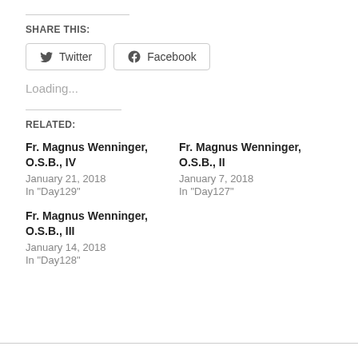SHARE THIS:
Twitter | Facebook (social share buttons)
Loading...
RELATED:
Fr. Magnus Wenninger, O.S.B., IV
January 21, 2018
In "Day129"
Fr. Magnus Wenninger, O.S.B., II
January 7, 2018
In "Day127"
Fr. Magnus Wenninger, O.S.B., III
January 14, 2018
In "Day128"